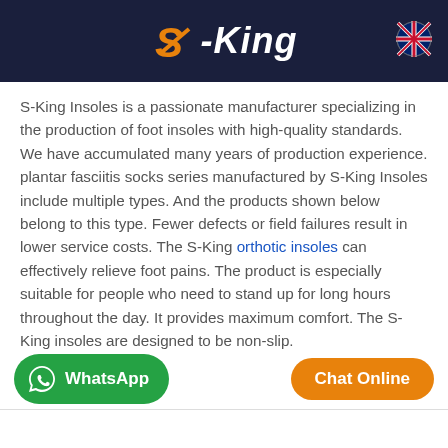S-King
S-King Insoles is a passionate manufacturer specializing in the production of foot insoles with high-quality standards. We have accumulated many years of production experience. plantar fasciitis socks series manufactured by S-King Insoles include multiple types. And the products shown below belong to this type. Fewer defects or field failures result in lower service costs. The S-King orthotic insoles can effectively relieve foot pains. The product is especially suitable for people who need to stand up for long hours throughout the day. It provides maximum comfort. The S-King insoles are designed to be non-slip.
[Figure (logo): S-King logo and WhatsApp button and Chat Online button at bottom]